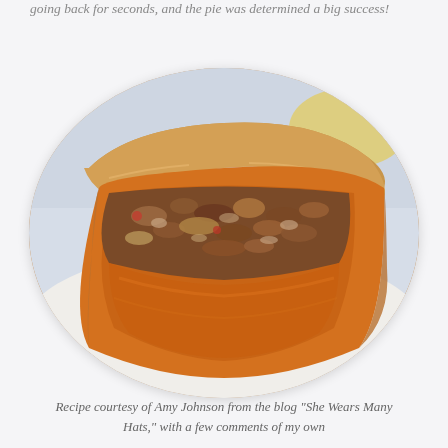going back for seconds, and the pie was determined a big success!
[Figure (photo): Close-up photo of a slice of sweet potato or pumpkin pie with pecan topping, served on a white plate, displayed in an oval crop with blurred background]
Recipe courtesy of Amy Johnson from the blog "She Wears Many Hats," with a few comments of my own